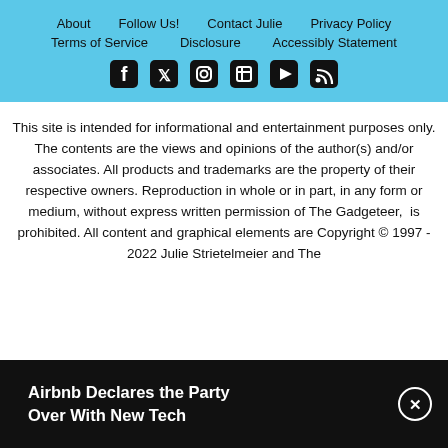About | Follow Us! | Contact Julie | Privacy Policy | Terms of Service | Disclosure | Accessibly Statement
[Figure (other): Social media icons: Facebook, Twitter, Instagram, Pinterest, YouTube, RSS]
This site is intended for informational and entertainment purposes only. The contents are the views and opinions of the author(s) and/or associates. All products and trademarks are the property of their respective owners. Reproduction in whole or in part, in any form or medium, without express written permission of The Gadgeteer, is prohibited. All content and graphical elements are Copyright © 1997 - 2022 Julie Strietelmeier and The
Airbnb Declares the Party Over With New Tech